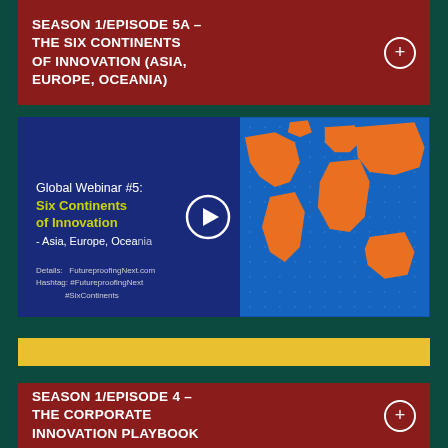SEASON 1/EPISODE 5A - THE SIX CONTINENTS OF INNOVATION (ASIA, EUROPE, OCEANIA)
[Figure (screenshot): Webinar thumbnail for Global Webinar #5: Six Continents of Innovation - Asia, Europe, Oceania. Left side shows dark blue background with yellow-green title text and play button. Right side shows an orange world map on blue grid background. Details: FutureproofingNext.com, Hashtag: #FutureproofingNext #SixContinents.]
[Figure (other): Yellow/gold horizontal bar, empty.]
SEASON 1/EPISODE 4 - THE CORPORATE INNOVATION PLAYBOOK